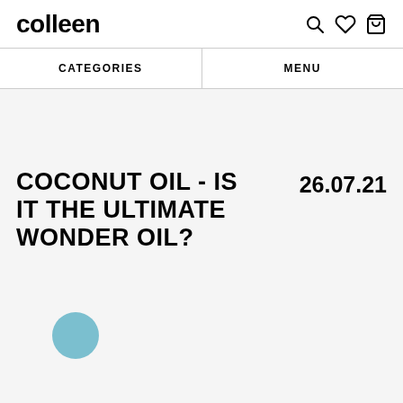colleen
CATEGORIES | MENU
COCONUT OIL - IS IT THE ULTIMATE WONDER OIL?
26.07.21
[Figure (illustration): A light blue circle/dot decorative element]